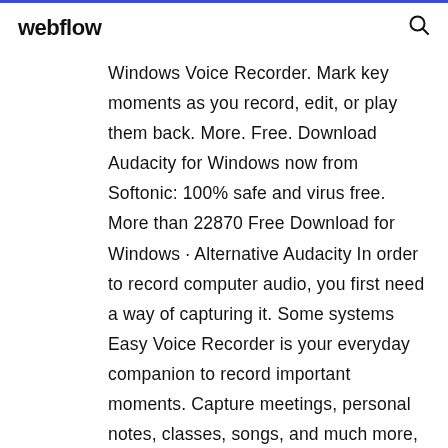webflow
Windows Voice Recorder. Mark key moments as you record, edit, or play them back. More. Free. Download Audacity for Windows now from Softonic: 100% safe and virus free. More than 22870 Free Download for Windows · Alternative Audacity In order to record computer audio, you first need a way of capturing it. Some systems  Easy Voice Recorder is your everyday companion to record important moments. Capture meetings, personal notes, classes, songs, and much more, without time   Our Voice Recorder is a convenient and simple online tool that can be used right in your browser. It allows you to record your voice using a microphone and save it as an mp3 file